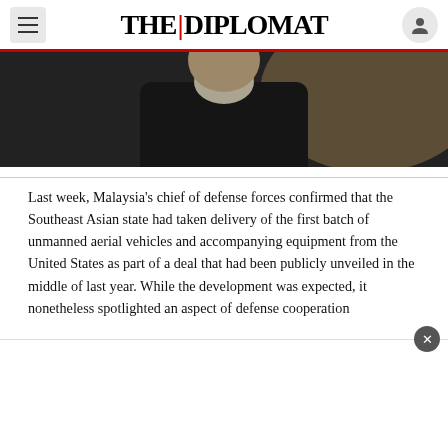THE DIPLOMAT
[Figure (photo): Close-up photo of a man in a dark suit with a light-colored shirt, photographed from chest up, dark background with warm highlights]
Last week, Malaysia's chief of defense forces confirmed that the Southeast Asian state had taken delivery of the first batch of unmanned aerial vehicles and accompanying equipment from the United States as part of a deal that had been publicly unveiled in the middle of last year. While the development was expected, it nonetheless spotlighted an aspect of defense cooperation